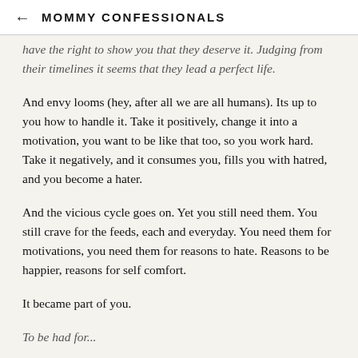← MOMMY CONFESSIONALS
have the right to show you that they deserve it. Judging from their timelines it seems that they lead a perfect life.
And envy looms (hey, after all we are all humans). Its up to you how to handle it. Take it positively, change it into a motivation, you want to be like that too, so you work hard. Take it negatively, and it consumes you, fills you with hatred, and you become a hater.
And the vicious cycle goes on. Yet you still need them. You still crave for the feeds, each and everyday. You need them for motivations, you need them for reasons to hate. Reasons to be happier, reasons for self comfort.
It became part of you.
To be had for...